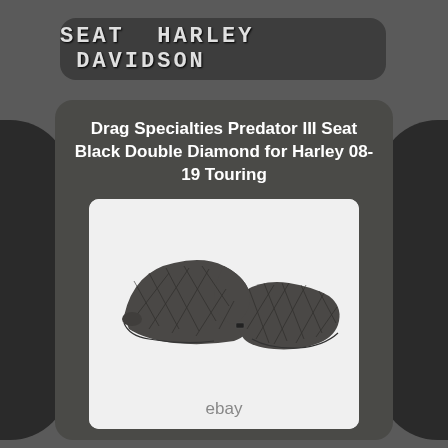SEAT HARLEY DAVIDSON
Drag Specialties Predator III Seat Black Double Diamond for Harley 08-19 Touring
[Figure (photo): A black diamond-stitched motorcycle seat (Drag Specialties Predator III) shown from a side angle against a white background, with an eBay watermark at the bottom.]